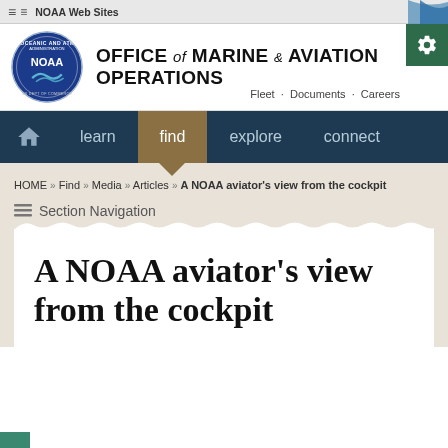≡ ≡ NOAA Web Sites
OFFICE of MARINE & AVIATION OPERATIONS
Fleet · Documents · Careers
learn  find  explore  connect
HOME >> Find >> Media >> Articles >> A NOAA aviator's view from the cockpit
≡ Section Navigation
A NOAA aviator's view from the cockpit